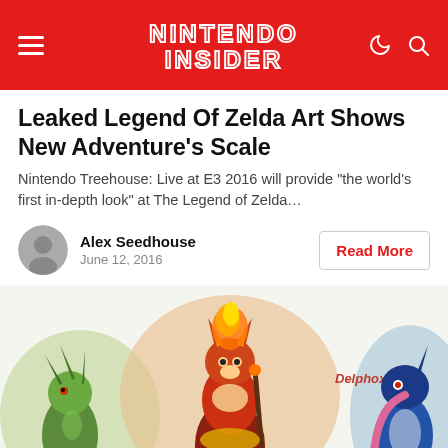NINTENDO INSIDER
Leaked Legend Of Zelda Art Shows New Adventure’s Scale
Nintendo Treehouse: Live at E3 2016 will provide “the world’s first in-depth look” at The Legend of Zelda…
Alex Seedhouse
June 12, 2016
Read More
[Figure (illustration): Pokemon artwork showing Sceptile on the left, Delphox in the center with a label reading 'Delphox', and Greninja partially visible on the right, against colorful watercolor-style backgrounds.]